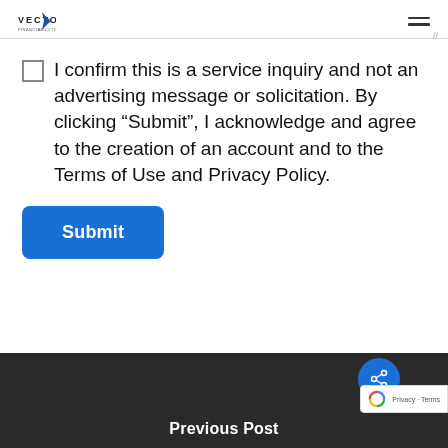VECTOR Financial Solutions, Inc.
I confirm this is a service inquiry and not an advertising message or solicitation. By clicking “Submit”, I acknowledge and agree to the creation of an account and to the Terms of Use and Privacy Policy.
Submit
Previous Post